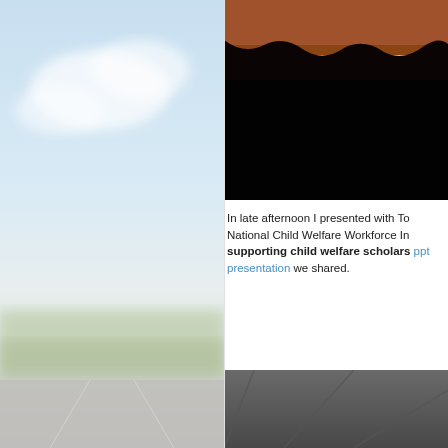[Figure (photo): Blurry outdoor photo of a road and sky with green landscape, light blue sky with white clouds, fading to grey at bottom]
[Figure (photo): Dark photo with brown/rust colored top portion and very dark black lower portion, appears to be an outdoor or terrain scene]
In late afternoon I presented with To National Child Welfare Workforce In supporting child welfare scholars ppt presentation we shared.
[Figure (photo): Dark grey photo showing diagonal lines, possibly a road or pavement surface shot from above]